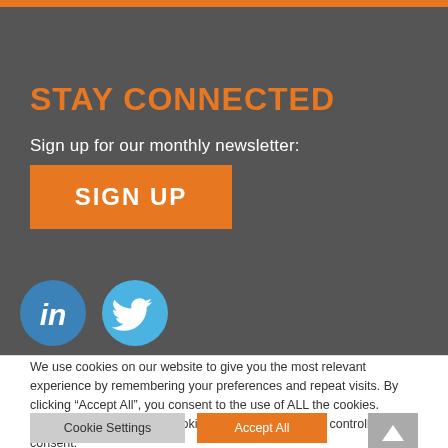STAY CONNECTED
Sign up for our monthly newsletter:
[Figure (other): Orange SIGN UP button]
[Figure (other): LinkedIn and Twitter social media icons (circular badges, partially visible at bottom of dark section)]
We use cookies on our website to give you the most relevant experience by remembering your preferences and repeat visits. By clicking “Accept All”, you consent to the use of ALL the cookies. However, you may visit “Cookie Settings” to provide a controlled consent.
[Figure (other): Cookie Settings (grey) and Accept All (orange) buttons, plus scroll-to-top arrow button (grey) in bottom-right corner]